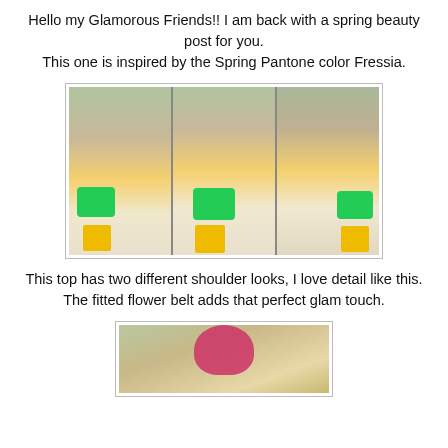Hello my Glamorous Friends!! I am back with a spring beauty post for you.
This one is inspired by the Spring Pantone color Fressia.
[Figure (photo): Three-panel photo strip showing a woman in a yellow top, white pants, yellow high heels, green handbag, and pink hair, photographed outdoors near a lake and trees from three different angles.]
This top has two different shoulder looks, I love detail like this.
The fitted flower belt adds that perfect glam touch.
[Figure (photo): Partial photo showing a woman with pink/red hair outdoors near trees, cropped at the top of the image.]